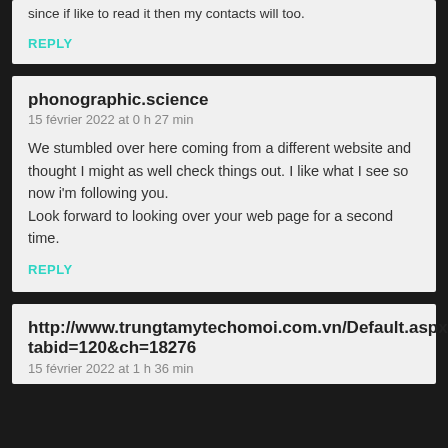REPLY
phonographic.science
15 février 2022 at 0 h 27 min
We stumbled over here coming from a different website and thought I might as well check things out. I like what I see so now i'm following you. Look forward to looking over your web page for a second time.
REPLY
http://www.trungtamytechomoi.com.vn/Default.aspx?tabid=120&ch=18276
15 février 2022 at 1 h 36 min